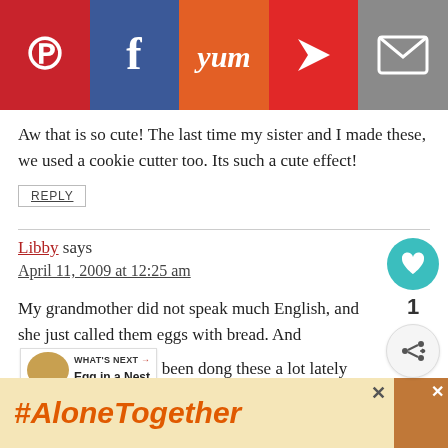[Figure (other): Social sharing bar with Pinterest (red), Facebook (blue), Yummly (orange), Flipboard (red), and Email (gray) buttons with white icons]
Aw that is so cute! The last time my sister and I made these, we used a cookie cutter too. Its such a cute effect!
REPLY
Libby says
April 11, 2009 at 12:25 am
My grandmother did not speak much English, and she just called them eggs with bread. And been dong these a lot lately since I have been baking my own loaves. We've stopped buying
[Figure (other): WHAT'S NEXT arrow with Egg in a Nest thumbnail]
[Figure (other): Heart/like button showing count of 1, and share button below]
[Figure (other): #AloneTogether advertisement banner with orange text on yellow background and person image on right side]